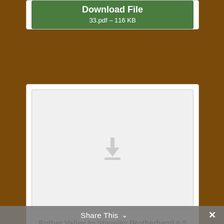[Figure (screenshot): Partially visible download button showing 'Download File' and '33.pdf – 116 KB' on a green button inside a white card]
[Figure (screenshot): Download card with a grey thumbnail area showing a download icon, title 'Rother Valley to Staveley (Rotherham) 6.5 miles', and a green 'Download File' button with '31-Rother-Valley-to-Staveley.pdf – 91 KB']
Rother Valley to Staveley (Rotherham) 6.5 miles
Download File
31-Rother-Valley-to-Staveley.pdf – 91 KB
Share This ×